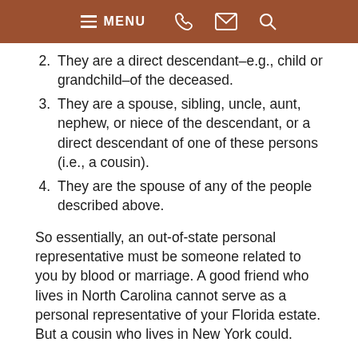MENU
They are a direct descendant–e.g., child or grandchild–of the deceased.
They are a spouse, sibling, uncle, aunt, nephew, or niece of the descendant, or a direct descendant of one of these persons (i.e., a cousin).
They are the spouse of any of the people described above.
So essentially, an out-of-state personal representative must be someone related to you by blood or marriage. A good friend who lives in North Carolina cannot serve as a personal representative of your Florida estate. But a cousin who lives in New York could.
Always Get Advice from a Florida Probate and Estate Administration Lawyer
That explains the law. But what about the practical